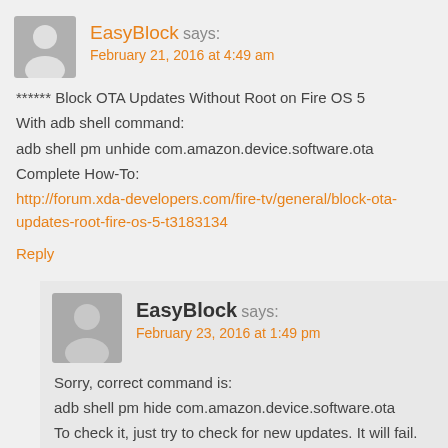EasyBlock says: February 21, 2016 at 4:49 am
****** Block OTA Updates Without Root on Fire OS 5
With adb shell command:
adb shell pm unhide com.amazon.device.software.ota
Complete How-To:
http://forum.xda-developers.com/fire-tv/general/block-ota-updates-root-fire-os-5-t3183134
Reply
EasyBlock says: February 23, 2016 at 1:49 pm
Sorry, correct command is:
adb shell pm hide com.amazon.device.software.ota
To check it, just try to check for new updates. It will fail.
Reply